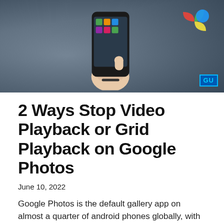[Figure (photo): Hero image showing a hand holding a smartphone with Google Photos logo in the top right corner and a GU logo watermark at the bottom right.]
2 Ways Stop Video Playback or Grid Playback on Google Photos
June 10, 2022
Google Photos is the default gallery app on almost a quarter of android phones globally, with estimates at around 750 million